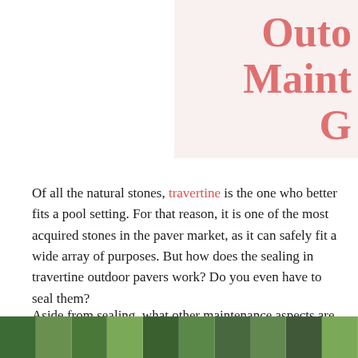Outo Maint G
Of all the natural stones, travertine is the one who better fits a pool setting. For that reason, it is one of the most acquired stones in the paver market, as it can safely fit a wide array of purposes. But how does the sealing in travertine outdoor pavers work? Do you even have to seal them?
Aside from sealing, what other maintenance aspects are important when working with travertine? Let's go through a guide on how to properly take care of travertine pavers and discuss whether you should to seal them or not.
[Figure (photo): Photo strip at the bottom showing outdoor greenery/trees, partially cropped]